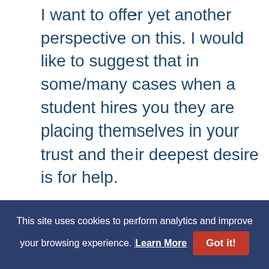I want to offer yet another perspective on this. I would like to suggest that in some/many cases when a student hires you they are placing themselves in your trust and their deepest desire is for help.

Very few students will tell you, “I need help, I hope you are competent, and I want to trust you completely.” Yet I would suggest that for many/most that this is the deepest hidden level that a student can go. What is more, many
This site uses cookies to perform analytics and improve your browsing experience. Learn More  Got it!